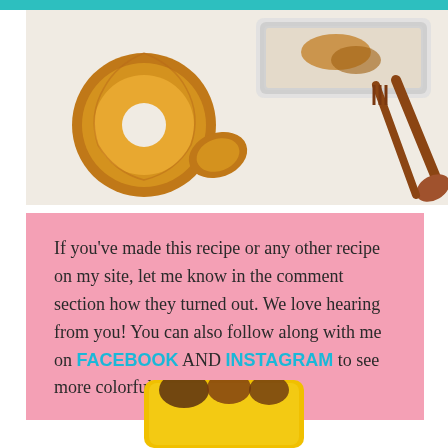[Figure (photo): Overhead photo of dried/roasted pineapple rings on a white marble surface with a silver baking dish and wooden utensils in the background]
If you've made this recipe or any other recipe on my site, let me know in the comment section how they turned out. We love hearing from you! You can also follow along with me on FACEBOOK AND INSTAGRAM to see more colorful recipes!
[Figure (photo): Partial bottom image showing a yellow rounded banner/badge, appears to be a recipe card or rating element]